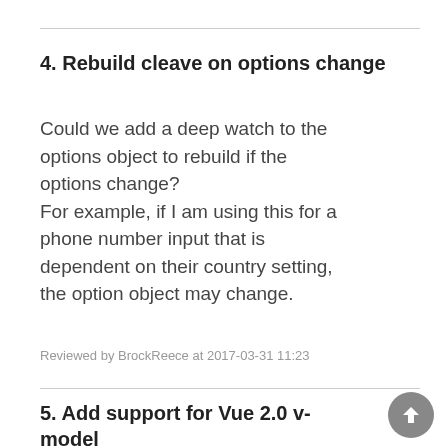4. Rebuild cleave on options change
Could we add a deep watch to the options object to rebuild if the options change?
For example, if I am using this for a phone number input that is dependent on their country setting, the option object may change.
Reviewed by BrockReece at 2017-03-31 11:23
5. Add support for Vue 2.0 v-model